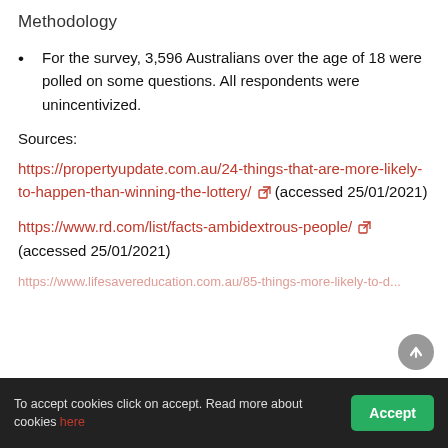Methodology
For the survey, 3,596 Australians over the age of 18 were polled on some questions. All respondents were unincentivized.
Sources:
https://propertyupdate.com.au/24-things-that-are-more-likely-to-happen-than-winning-the-lottery/ (accessed 25/01/2021)
https://www.rd.com/list/facts-ambidextrous-people/ (accessed 25/01/2021)
To accept cookies click on accept. Read more about cookies here
Accept